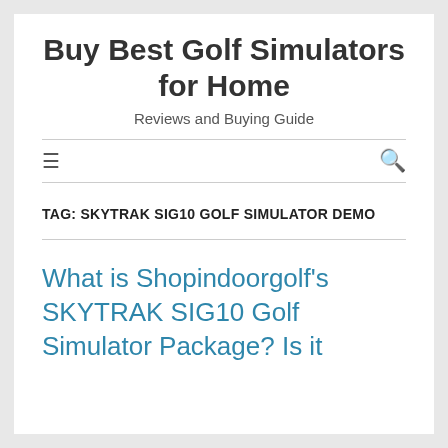Buy Best Golf Simulators for Home
Reviews and Buying Guide
TAG: SKYTRAK SIG10 GOLF SIMULATOR DEMO
What is Shopindoorgolf's SKYTRAK SIG10 Golf Simulator Package? Is it